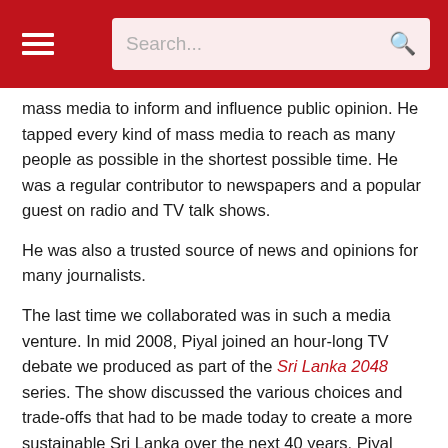Search...
mass media to inform and influence public opinion. He tapped every kind of mass media to reach as many people as possible in the shortest possible time. He was a regular contributor to newspapers and a popular guest on radio and TV talk shows.
He was also a trusted source of news and opinions for many journalists.
The last time we collaborated was in such a media venture. In mid 2008, Piyal joined an hour-long TV debate we produced as part of the Sri Lanka 2048 series. The show discussed the various choices and trade-offs that had to be made today to create a more sustainable Sri Lanka over the next 40 years. Piyal could speak authoritatively on several topics we covered in the 10-part series, but I invited him to the debate on managing freshwater. With his deep knowledge of traditional water and soil conservation systems, he was truly in his element there.